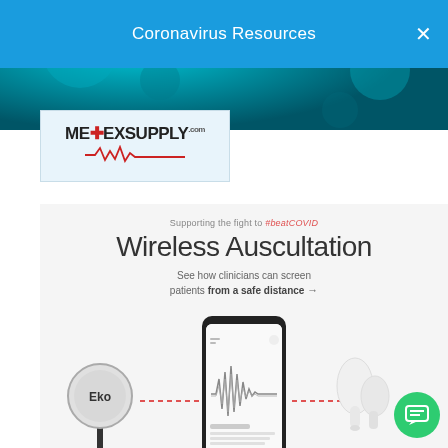[Figure (photo): Teal/blue background with microscopic virus imagery]
Coronavirus Resources
[Figure (logo): MedExSupply.com logo with red cross and EKG line on light blue background]
[Figure (illustration): Wireless Auscultation promotional image showing Eko stethoscope, smartphone app with waveform, and AirPods Pro connected by dotted red lines]
Supporting the fight to #beatCOVID
Wireless Auscultation
See how clinicians can screen patients from a safe distance →